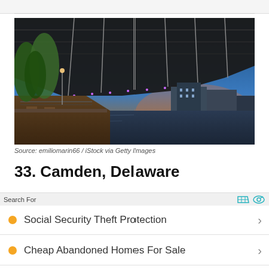[Figure (photo): Photograph of a large suspension bridge viewed from below at dusk, with a waterfront walkway lined with trees on the left and city buildings in the background under a blue and orange sky.]
Source: emiliomarin66 / iStock via Getty Images
33. Camden, Delaware
Search For
Social Security Theft Protection
Cheap Abandoned Homes For Sale